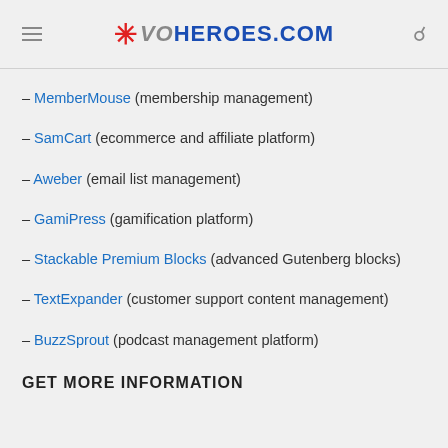* VOHeroes.com
– MemberMouse (membership management)
– SamCart (ecommerce and affiliate platform)
– Aweber (email list management)
– GamiPress (gamification platform)
– Stackable Premium Blocks (advanced Gutenberg blocks)
– TextExpander (customer support content management)
– BuzzSprout (podcast management platform)
GET MORE INFORMATION